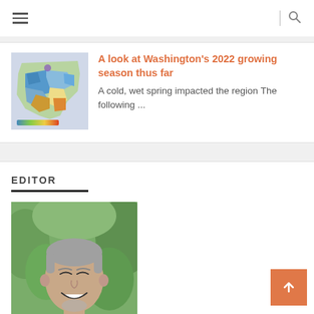Navigation bar with hamburger menu and search icon
A look at Washington's 2022 growing season thus far
A cold, wet spring impacted the region The following ...
[Figure (map): Color-coded map of Washington state showing growing season data with blues, greens, and yellows]
EDITOR
[Figure (photo): Headshot of a middle-aged man with short gray hair and a beard, smiling, wearing a dark polo shirt, with green foliage in the background]